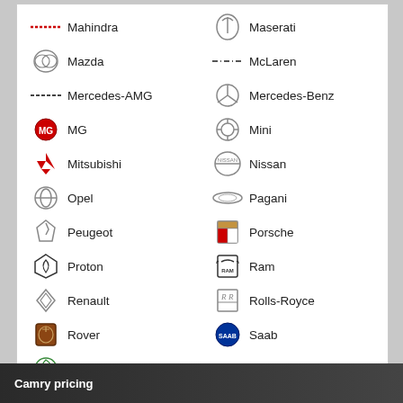Mahindra
Maserati
Mazda
McLaren
Mercedes-AMG
Mercedes-Benz
MG
Mini
Mitsubishi
Nissan
Opel
Pagani
Peugeot
Porsche
Proton
Ram
Renault
Rolls-Royce
Rover
Saab
Skoda
Smart
SsangYong
Subaru
Suzuki
Tesla
Toyota
Volkswagen
Volvo
Camry pricing